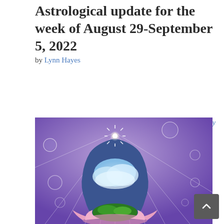Astrological update for the week of August 29-September 5, 2022
by Lynn Hayes
art by
[Figure (illustration): Spiritual illustration of a meditating human silhouette filled with clouds, green earth at the base, and a bright star emanating rays from the crown chakra, surrounded by bubbles, all set against a purple background. The figure sits in lotus position atop a pink lotus flower.]